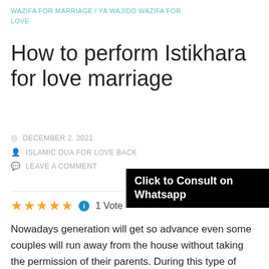WAZIFA FOR MARRIAGE / YA WAJIDO WAZIFA FOR LOVE
How to perform Istikhara for love marriage
DECEMBER 2, 2021
ISLAMIC DUA FOR LOVE BACK
LEAVE A COMMENT
Click to Consult on Whatsapp
★★★★★ ℹ 1 Vote
Nowadays generation will get so advance even some couples will run away from the house without taking the permission of their parents. During this type of situation, you have to face a lot of difficulties as you can say that later society will not ready to accept you, your parents will ignore you, even your